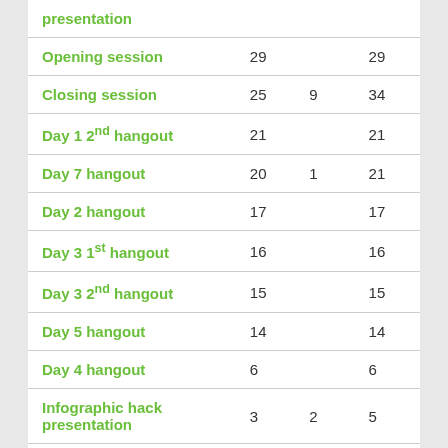| Event | Col1 | Col2 | Total |
| --- | --- | --- | --- |
| presentation |  |  |  |
| Opening session | 29 |  | 29 |
| Closing session | 25 | 9 | 34 |
| Day 1 2nd hangout | 21 |  | 21 |
| Day 7 hangout | 20 | 1 | 21 |
| Day 2 hangout | 17 |  | 17 |
| Day 3 1st hangout | 16 |  | 16 |
| Day 3 2nd hangout | 15 |  | 15 |
| Day 5 hangout | 14 |  | 14 |
| Day 4 hangout | 6 |  | 6 |
| Infographic hack presentation | 3 | 2 | 5 |
| Prize giving session | 2 |  | 2 |